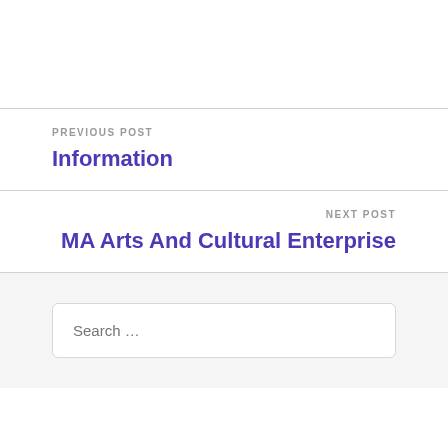PREVIOUS POST
Information
NEXT POST
MA Arts And Cultural Enterprise
Search ...